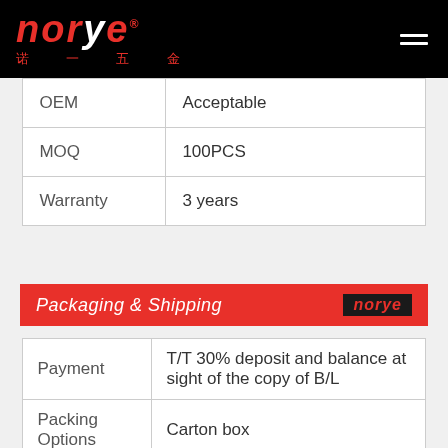[Figure (logo): Norye brand logo with red stylized text and Chinese characters on black background, with hamburger menu icon]
| OEM | Acceptable |
| MOQ | 100PCS |
| Warranty | 3 years |
Packaging & Shipping
| Payment | T/T 30% deposit and balance at sight of the copy of B/L |
| Packing Options | Carton box |
| Shipping | By Courier, By Air, By Sea |